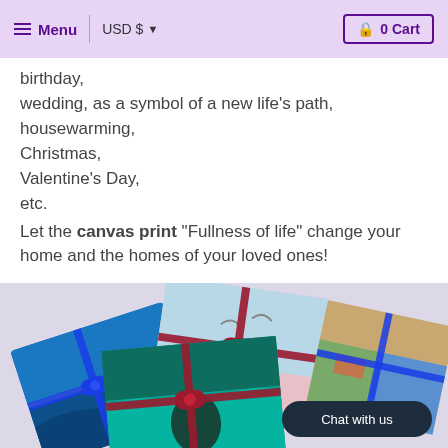Menu | USD $ ▼  0 Cart
birthday,
wedding, as a symbol of a new life's path,
housewarming,
Christmas,
Valentine's Day,
etc.
Let the canvas print "Fullness of life" change your home and the homes of your loved ones!
[Figure (photo): Several canvas prints wrapped with ribbon bows displayed as gifts, with a 'Chat with us' chat bubble overlay.]